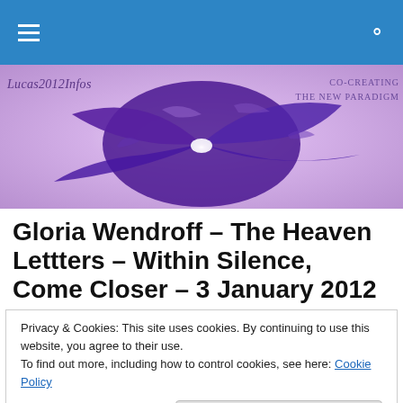Navigation bar with hamburger menu and search icon
[Figure (illustration): Lucas2012Infos website banner with purple abstract swirl art. Left text: Lucas2012Infos. Right text: Co-Creating The New Paradigm]
Gloria Wendroff – The Heaven Lettters – Within Silence, Come Closer – 3 January 2012
Privacy & Cookies: This site uses cookies. By continuing to use this website, you agree to their use.
To find out more, including how to control cookies, see here: Cookie Policy
Close and accept